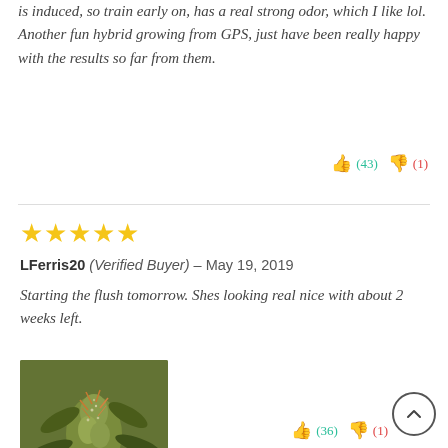is induced, so train early on, has a real strong odor, which I like lol. Another fun hybrid growing from GPS, just have been really happy with the results so far from them.
👍 (43) 👎 (1)
[Figure (other): 5 gold stars rating]
LFerris20 (Verified Buyer) – May 19, 2019
Starting the flush tomorrow. Shes looking real nice with about 2 weeks left.
[Figure (photo): Close-up photo of a cannabis plant with green leaves and flowers]
👍 (36) 👎 (1)